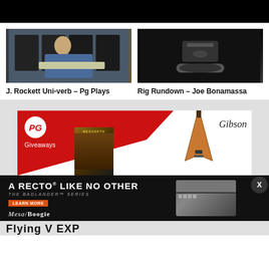[Figure (photo): Black bar at top of page, likely a video player]
[Figure (photo): Man playing electric guitar in front of amplifiers, J. Rockett Uni-verb Pg Plays video thumbnail]
J. Rockett Uni-verb - Pg Plays
[Figure (photo): Dark background with guitar pedal, Rig Rundown - Joe Bonamassa video thumbnail]
Rig Rundown - Joe Bonamassa
[Figure (photo): PG Giveaways advertisement with Gibson guitar and Megadeth album cover]
[Figure (photo): Mesa/Boogie Badlander Series advertisement with amp image and text A RECTO LIKE NO OTHER]
Flying V EXP